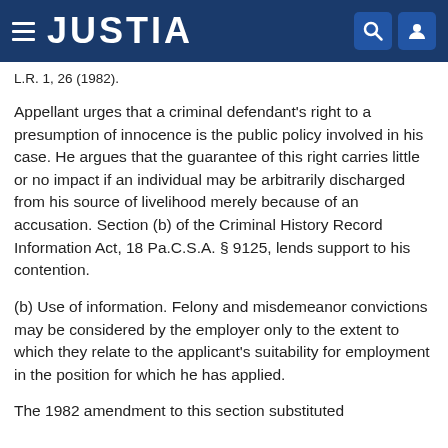JUSTIA
L.R. 1, 26 (1982).
Appellant urges that a criminal defendant's right to a presumption of innocence is the public policy involved in his case. He argues that the guarantee of this right carries little or no impact if an individual may be arbitrarily discharged from his source of livelihood merely because of an accusation. Section (b) of the Criminal History Record Information Act, 18 Pa.C.S.A. § 9125, lends support to his contention.
(b) Use of information. Felony and misdemeanor convictions may be considered by the employer only to the extent to which they relate to the applicant's suitability for employment in the position for which he has applied.
The 1982 amendment to this section substituted